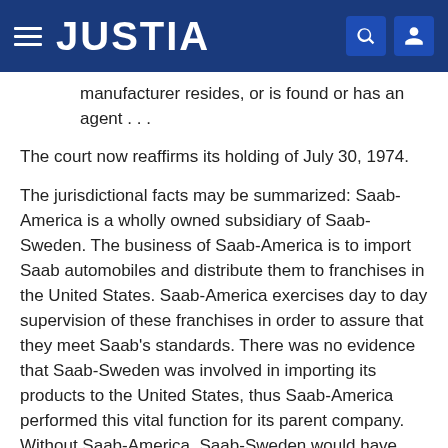JUSTIA
manufacturer resides, or is found or has an agent . . .
The court now reaffirms its holding of July 30, 1974.
The jurisdictional facts may be summarized: Saab-America is a wholly owned subsidiary of Saab-Sweden. The business of Saab-America is to import Saab automobiles and distribute them to franchises in the United States. Saab-America exercises day to day supervision of these franchises in order to assure that they meet Saab's standards. There was no evidence that Saab-Sweden was involved in importing its products to the United States, thus Saab-America performed this vital function for its parent company. Without Saab-America, Saab-Sweden would have had to import these automobiles itself.